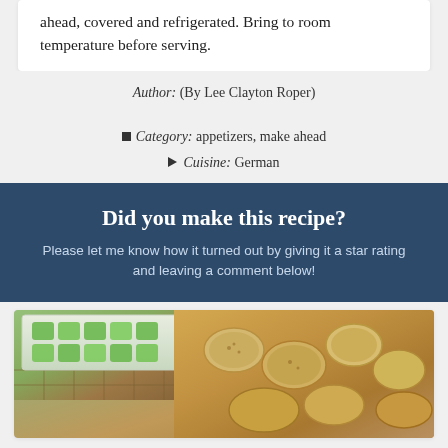ahead, covered and refrigerated. Bring to room temperature before serving.
Author: (By Lee Clayton Roper)   Category: appetizers, make ahead   Cuisine: German
Did you make this recipe?
Please let me know how it turned out by giving it a star rating and leaving a comment below!
[Figure (photo): Food photo showing a basket with green apple chunks and crackers/appetizers on a platter]